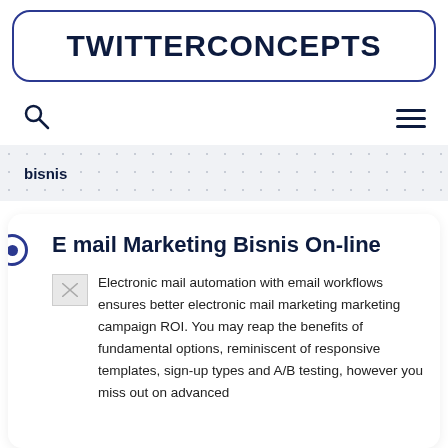TWITTERCONCEPTS
[Figure (other): Search icon (magnifying glass)]
[Figure (other): Hamburger menu icon (three horizontal lines)]
bisnis
E mail Marketing Bisnis On-line
[Figure (photo): Small broken/placeholder image thumbnail]
Electronic mail automation with email workflows ensures better electronic mail marketing marketing campaign ROI. You may reap the benefits of fundamental options, reminiscent of responsive templates, sign-up types and A/B testing, however you miss out on advanced